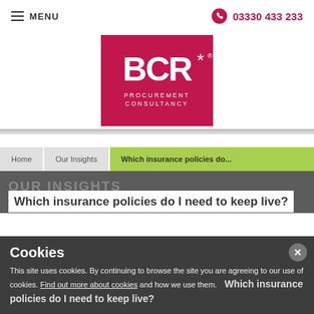MENU   03330 433 233
[Figure (logo): BCR* Procurement Consultancy logo — white text on magenta/pink square background]
Home   Our Insights   Which insurance policies do...
OUR INSIGHTS
Which insurance policies do I need to keep live?
Cookies
This site uses cookies. By continuing to browse the site you are agreeing to our use of cookies. Find out more about cookies and how we use them.